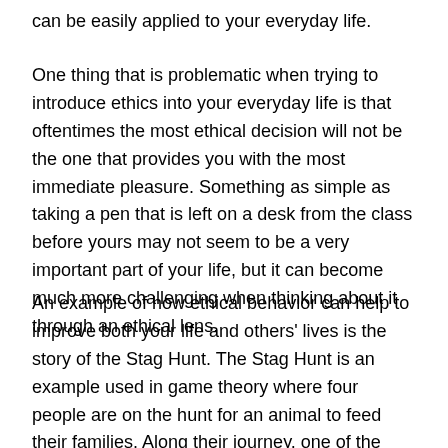can be easily applied to your everyday life.
One thing that is problematic when trying to introduce ethics into your everyday life is that oftentimes the most ethical decision will not be the one that provides you with the most immediate pleasure. Something as simple as taking a pen that is left on a desk from the class before yours may not seem to be a very important part of your life, but it can become much more challenging when thinking about it through an ethical lens.
An example of how ethical behavior can help to improve both your life and others' lives is the story of the Stag Hunt. The Stag Hunt is an example used in game theory where four people are on the hunt for an animal to feed their families. Along their journey, one of the hunters has the opportunity to kill a rabbit, which would be enough to feed his family, but the